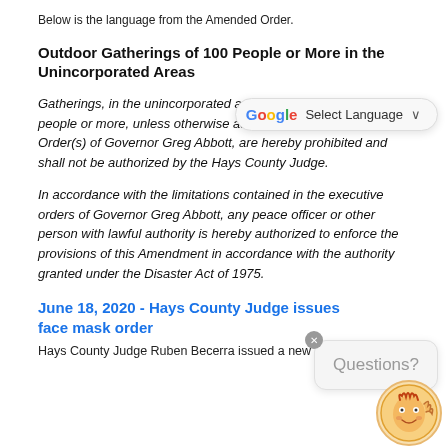Below is the language from the Amended Order.
Outdoor Gatherings of 100 People or More in the Unincorporated Areas
Gatherings, in the unincorporated areas of Hays County, of 100 people or more, unless otherwise authorized by the Executive Order(s) of Governor Greg Abbott, are hereby prohibited and shall not be authorized by the Hays County Judge.
In accordance with the limitations contained in the executive orders of Governor Greg Abbott, any peace officer or other person with lawful authority is hereby authorized to enforce the provisions of this Amendment in accordance with the authority granted under the Disaster Act of 1975.
June 18, 2020 - Hays County Judge issues face mask order
Hays County Judge Ruben Becerra issued a new